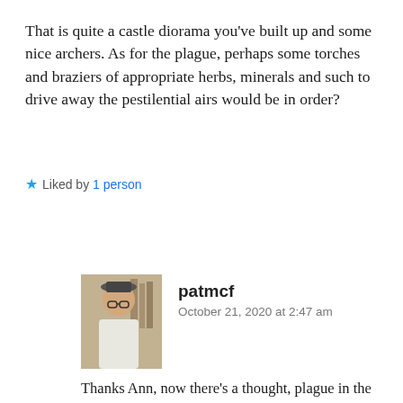That is quite a castle diorama you've built up and some nice archers. As for the plague, perhaps some torches and braziers of appropriate herbs, minerals and such to drive away the pestilential airs would be in order?
★ Liked by 1 person
Reply
patmcf
October 21, 2020 at 2:47 am
Thanks Ann, now there's a thought, plague in the next extension of the village, sounds like a good id… 🙂😊